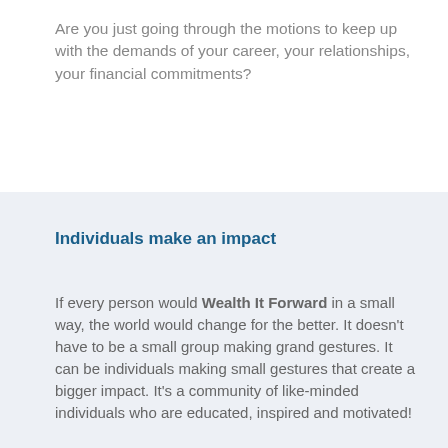Are you just going through the motions to keep up with the demands of your career, your relationships, your financial commitments?
Individuals make an impact
If every person would Wealth It Forward in a small way, the world would change for the better. It doesn't have to be a small group making grand gestures. It can be individuals making small gestures that create a bigger impact. It's a community of like-minded individuals who are educated, inspired and motivated!